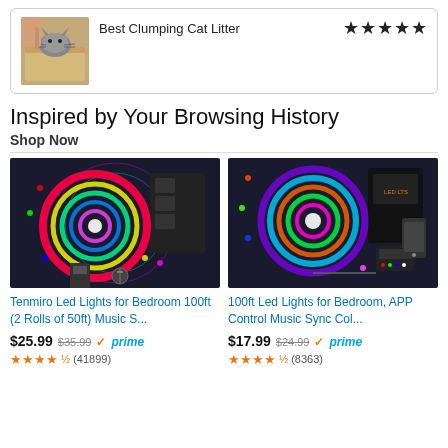[Figure (screenshot): Card showing cat litter product with image of cat in litter box on left, title 'Best Clumping Cat Litter' and 5 filled stars on right]
Inspired by Your Browsing History
Shop Now
[Figure (photo): LED light strip product image - Tenmiro colorful RGB LED strip lights with controller, two rolls]
[Figure (photo): LED light strip product image - 100ft LED Lights for Bedroom with remote and app control]
Tenmiro Led Lights for Bedroom 100ft (2 Rolls of 50ft) Music S...
100ft Led Lights for Bedroom, APP Control Music Sync Col...
$25.99 $35.99 ✓prime
$17.99 $24.99 ✓prime
★★★★½ (41899)
★★★★½ (8363)